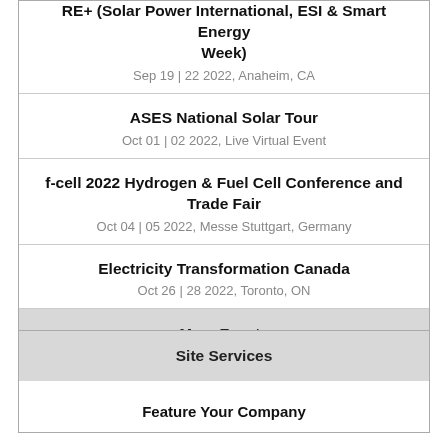RE+ (Solar Power International, ESI & Smart Energy Week)
Sep 19 | 22 2022, Anaheim, CA
ASES National Solar Tour
Oct 01 | 02 2022, Live Virtual Event
f-cell 2022 Hydrogen & Fuel Cell Conference and Trade Fair
Oct 04 | 05 2022, Messe Stuttgart, Germany
Electricity Transformation Canada
Oct 26 | 28 2022, Toronto, ON
More Events
Site Services
Feature Your Company